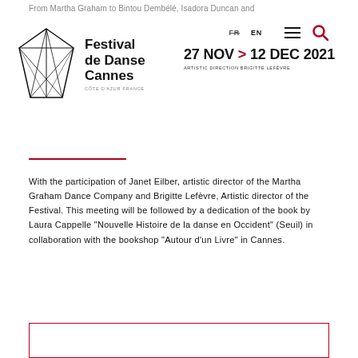From Martha Graham to Bintou Dembélé, Isadora Duncan and
[Figure (logo): Festival de Danse Cannes geometric diamond logo with navigation bar showing FR/EN language switcher, hamburger menu icon, and search icon, along with dates 27 NOV > 12 DEC 2021 and ARTISTIC DIRECTION BRIGITTE LEFÈVRE]
With the participation of Janet Eilber, artistic director of the Martha Graham Dance Company and Brigitte Lefèvre, Artistic director of the Festival. This meeting will be followed by a dedication of the book by Laura Cappelle "Nouvelle Histoire de la danse en Occident" (Seuil) in collaboration with the bookshop "Autour d'un Livre" in Cannes.